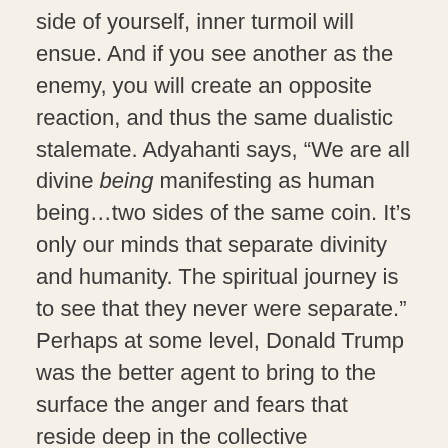side of yourself, inner turmoil will ensue. And if you see another as the enemy, you will create an opposite reaction, and thus the same dualistic stalemate. Adyahanti says, “We are all divine being manifesting as human being…two sides of the same coin. It’s only our minds that separate divinity and humanity. The spiritual journey is to see that they never were separate.” Perhaps at some level, Donald Trump was the better agent to bring to the surface the anger and fears that reside deep in the collective consciousness for the purpose of being acknowledged and dealt with. There is a saying: “Freedom calls anything to the surface that which is not free”.
Below is my friends’ channeled wisdom that I felt called to share with you that came in the days after